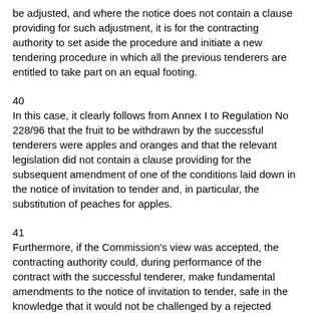be adjusted, and where the notice does not contain a clause providing for such adjustment, it is for the contracting authority to set aside the procedure and initiate a new tendering procedure in which all the previous tenderers are entitled to take part on an equal footing.
40
In this case, it clearly follows from Annex I to Regulation No 228/96 that the fruit to be withdrawn by the successful tenderers were apples and oranges and that the relevant legislation did not contain a clause providing for the subsequent amendment of one of the conditions laid down in the notice of invitation to tender and, in particular, the substitution of peaches for apples.
41
Furthermore, if the Commission’s view was accepted, the contracting authority could, during performance of the contract with the successful tenderer, make fundamental amendments to the notice of invitation to tender, safe in the knowledge that it would not be challenged by a rejected tenderer in an action seeking to have an unauthorised change in the conditions of invitation to tender penalised.
42
Succhi di Frutta considers that the fourth plea in law must